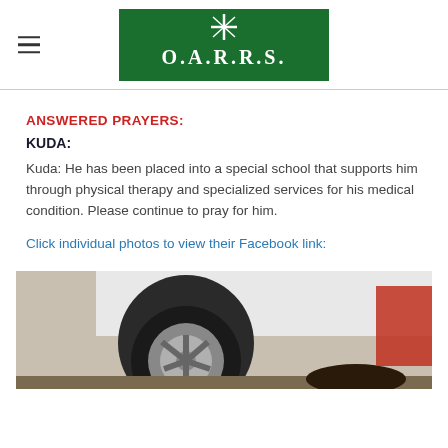O.A.R.R.S. logo with hamburger menu
ANSWERED PRAYERS:
KUDA:
Kuda: He has been placed into a special school that supports him through physical therapy and specialized services for his medical condition. Please continue to pray for him.
Click individual photos to view their Facebook link:
[Figure (photo): Photo showing a vehicle wheel/tire with a person visible underneath or beside it, outdoors on dirt ground.]